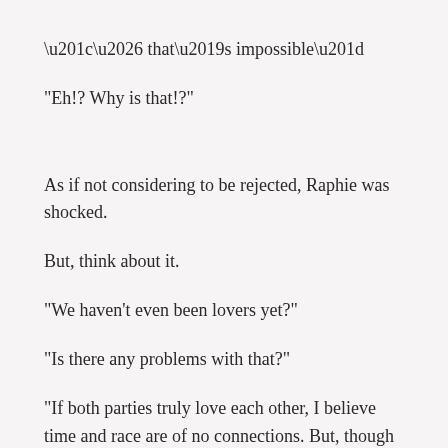“… that’s impossible”
“Eh!? Why is that!?”
As if not considering to be rejected, Raphie was shocked.
But, think about it.
“We haven’t even been lovers yet?”
“Is there any problems with that?”
“If both parties truly love each other, I believe time and race are of no connections. But, though I feel sorry for Raphie, I do not have as much good relations with Raphie as the desire to